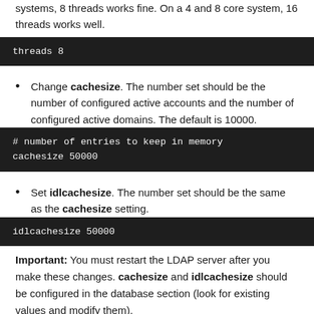systems, 8 threads works fine. On a 4 and 8 core system, 16 threads works well.
threads 8
Change cachesize. The number set should be the number of configured active accounts and the number of configured active domains. The default is 10000.
# number of entries to keep in memory
cachesize 50000
Set idlcachesize. The number set should be the same as the cachesize setting.
idlcachesize 50000
Important: You must restart the LDAP server after you make these changes. cachesize and idlcachesize should be configured in the database section (look for existing values and modify them).
If you have more than 100 domains, we suggest adjusting